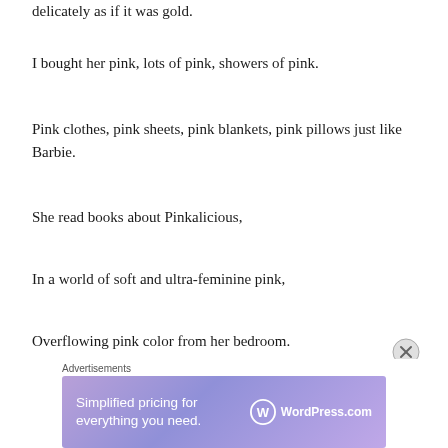delicately as if it was gold.
I bought her pink, lots of pink, showers of pink.
Pink clothes, pink sheets, pink blankets, pink pillows just like Barbie.
She read books about Pinkalicious,
In a world of soft and ultra-feminine pink,
Overflowing pink color from her bedroom.
Meanwhile, across the hallway, my bedroom was
[Figure (screenshot): WordPress.com advertisement banner: 'Simplified pricing for everything you need.' with WordPress logo on a purple gradient background. Preceded by an 'Advertisements' label.]